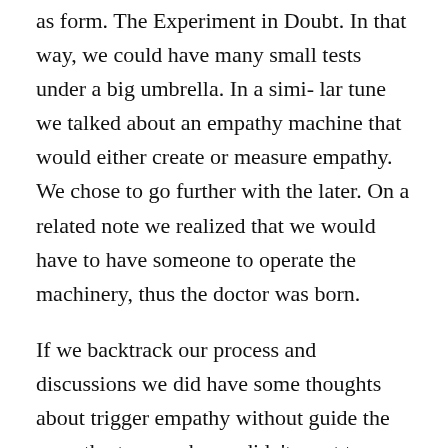as form. The Experiment in Doubt. In that way, we could have many small tests under a big umbrella. In a simi- lar tune we talked about an empathy machine that would either create or measure empathy. We chose to go further with the later. On a related note we realized that we would have to have someone to operate the machinery, thus the doctor was born.
If we backtrack our process and discussions we did have some thoughts about trigger empathy without guide the empathy too much, we didn't want to serve the guest what to feel rather create a situation where empathy can be triggered without too much guidance. If we would tell a story for exam- ple, we will guide the empathy.